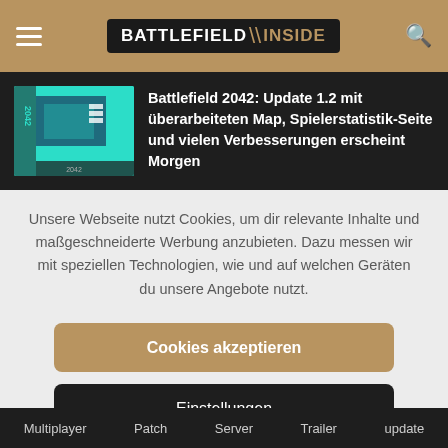BATTLEFIELD INSIDE
Battlefield 2042: Update 1.2 mit überarbeiteten Map, Spielerstatistik-Seite und vielen Verbesserungen erscheint Morgen
Unsere Webseite nutzt Cookies, um dir relevante Inhalte und maßgeschneiderte Werbung anzubieten. Dazu messen wir mit speziellen Technologien, wie und auf welchen Geräten du unsere Angebote nutzt.
Cookies akzeptieren
Einstellungen
Multiplayer  Patch  Server  Trailer  update